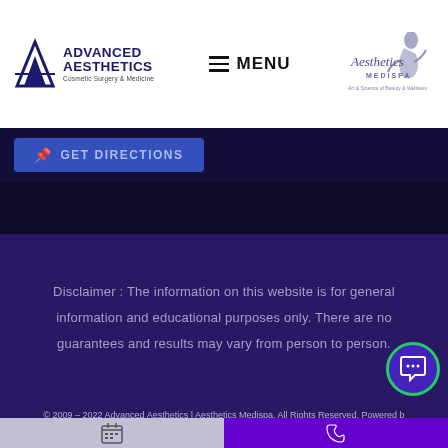[Figure (logo): Advanced Aesthetics Cosmetic Surgery & Medicine logo on the left with blue triangular icon and bold navy text]
[Figure (logo): Aesthetics Medispa logo on the right with stylized dancer figure and text 'Art & Science of Beauty & Wellness']
GET DIRECTIONS
Disclaimer : The information on this website is for general information and educational purposes only. There are no guarantees and results may vary from person to person.
© 2009 – 2022 Advanced Aesthetics | Aesthetics Medispa. All Rights Reserved. Powered by